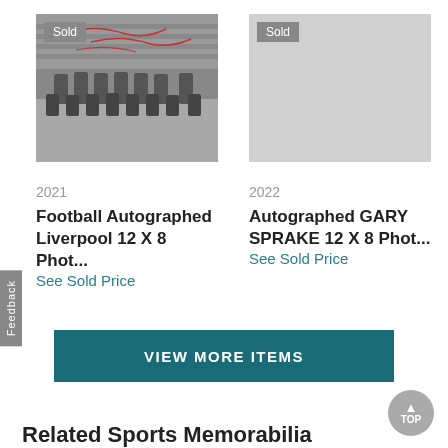[Figure (photo): Black and white football team photo with red autographs, showing two rows of players in kit standing and kneeling on a pitch with stadium stands in background. Has a grey 'Sold' badge overlay.]
Sold
[Figure (photo): Empty grey rectangle placeholder for second sold item with 'Sold' badge.]
Sold
2021
Football Autographed Liverpool 12 X 8 Phot...
See Sold Price
2022
Autographed GARY SPRAKE 12 X 8 Phot...
See Sold Price
VIEW MORE ITEMS
Feedback
TOP
Related Sports Memorabilia